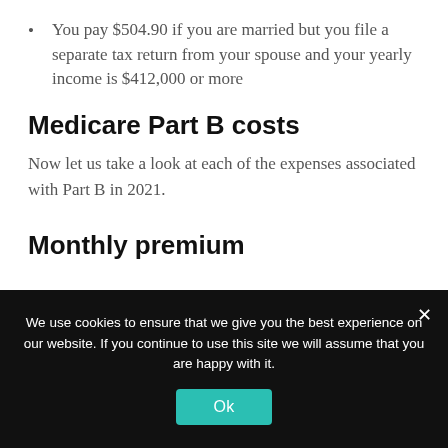You pay $504.90 if you are married but you file a separate tax return from your spouse and your yearly income is $412,000 or more
Medicare Part B costs
Now let us take a look at each of the expenses associated with Part B in 2021.
Monthly premium
We use cookies to ensure that we give you the best experience on our website. If you continue to use this site we will assume that you are happy with it.